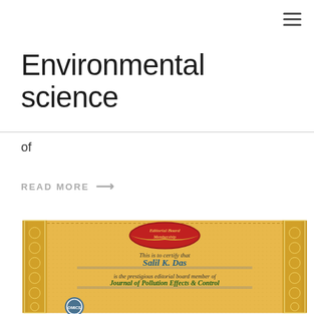☰
Environmental science
of
READ MORE →
[Figure (illustration): Editorial Board Membership certificate for Salil K. Das from Journal of Pollution Effects & Control, with ornate gold border design and a red oval emblem at the top.]